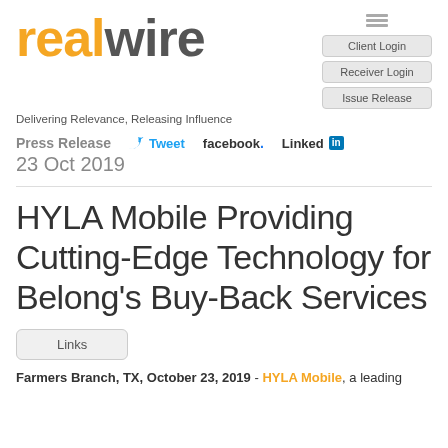[Figure (logo): RealWire logo with orange 'real' and grey 'wire' text, plus navigation buttons: Client Login, Receiver Login, Issue Release]
Delivering Relevance, Releasing Influence
Press Release   Tweet   facebook.   Linked in
23 Oct 2019
HYLA Mobile Providing Cutting-Edge Technology for Belong's Buy-Back Services
Links
Farmers Branch, TX, October 23, 2019 - HYLA Mobile, a leading